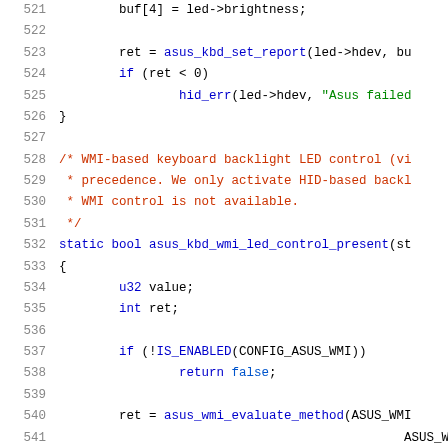Source code listing lines 521-541, C kernel code for ASUS keyboard LED control